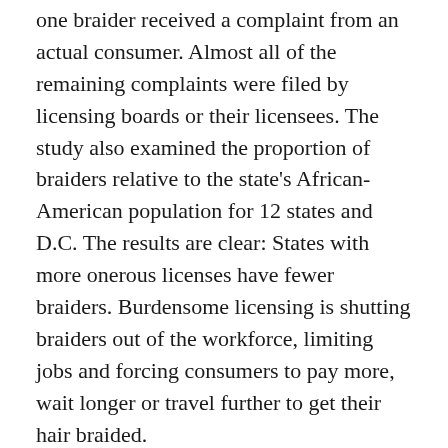one braider received a complaint from an actual consumer. Almost all of the remaining complaints were filed by licensing boards or their licensees. The study also examined the proportion of braiders relative to the state's African-American population for 12 states and D.C. The results are clear: States with more onerous licenses have fewer braiders. Burdensome licensing is shutting braiders out of the workforce, limiting jobs and forcing consumers to pay more, wait longer or travel further to get their hair braided.
Increasingly, states are recognizing that there's simply no need to license braiders. In 20 states, braiders are now free to work without a license. This year alone, five states eliminated licensing for braiders—Delaware, Iowa, Kentucky, Nebraska and West Virginia. This growing momentum for reform demonstrates that more